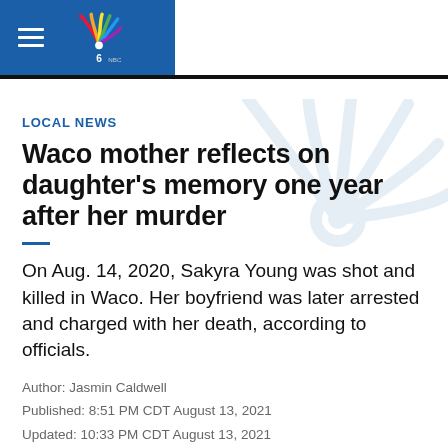LOCAL NEWS — NBC 6 (logo)
LOCAL NEWS
Waco mother reflects on daughter's memory one year after her murder
On Aug. 14, 2020, Sakyra Young was shot and killed in Waco. Her boyfriend was later arrested and charged with her death, according to officials.
Author: Jasmin Caldwell
Published: 8:51 PM CDT August 13, 2021
Updated: 10:33 PM CDT August 13, 2021
WACO, Texas — A lot has changed for Latoya Wells this past year. She became a grandmother, and an advocate for